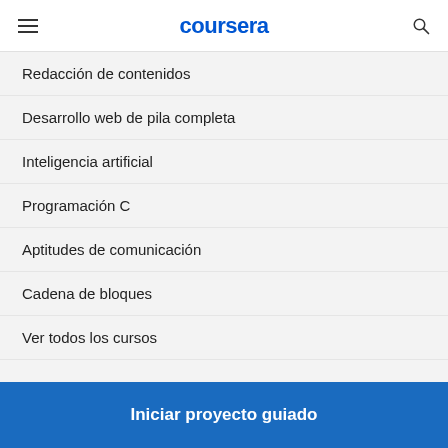coursera
Redacción de contenidos
Desarrollo web de pila completa
Inteligencia artificial
Programación C
Aptitudes de comunicación
Cadena de bloques
Ver todos los cursos
Iniciar proyecto guiado